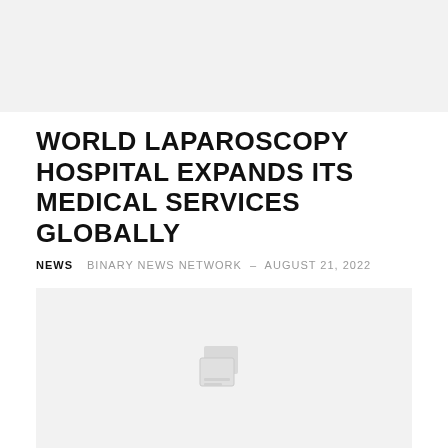[Figure (other): Top gray placeholder bar image area]
WORLD LAPAROSCOPY HOSPITAL EXPANDS ITS MEDICAL SERVICES GLOBALLY
NEWS   BINARY NEWS NETWORK – AUGUST 21, 2022
World Laparoscopy Hospital is an International Training Institute of Laparoscopic Surgery in India. Recently, the organization has expanded its services by launching an institute...
[Figure (other): Bottom gray placeholder box with broken image icon]